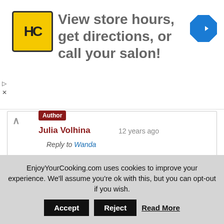[Figure (logo): Haircut salon logo (HC in yellow circle) with text 'View store hours, get directions, or call your salon!' and navigation arrow icon]
Julia Volhina   12 years ago
Reply to Wanda
Thanks 🙂 I hope you will like this dish
Reply
EnjoyYourCooking.com uses cookies to improve your experience. We'll assume you're ok with this, but you can opt-out if you wish.  Accept  Reject  Read More